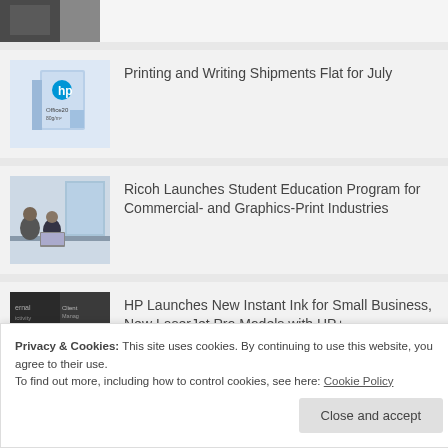[Figure (photo): Partial image of a person, cropped at top of page]
[Figure (photo): HP Office paper box product photo]
Printing and Writing Shipments Flat for July
[Figure (photo): Students in a classroom or office setting]
Ricoh Launches Student Education Program for Commercial- and Graphics-Print Industries
[Figure (photo): HP laptop and monitor collage with HP logo]
HP Launches New Instant Ink for Small Business, New LaserJet Pro Models with HP+
Privacy & Cookies: This site uses cookies. By continuing to use this website, you agree to their use.
To find out more, including how to control cookies, see here: Cookie Policy
Close and accept